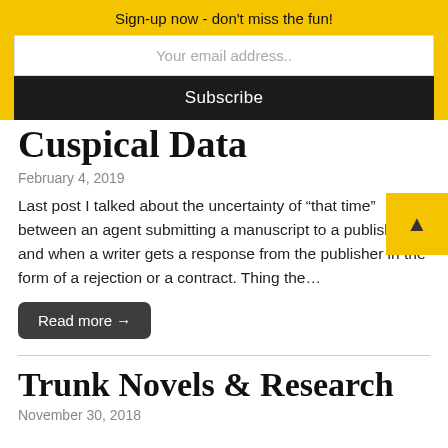Sign-up now - don't miss the fun!
Your email address..
Subscribe
Cuspical Data
February 4, 2019
Last post I talked about the uncertainty of “that time” between an agent submitting a manuscript to a publisher and when a writer gets a response from the publisher in the form of a rejection or a contract. Thing the…
Read more →
Trunk Novels & Research
November 30, 2018